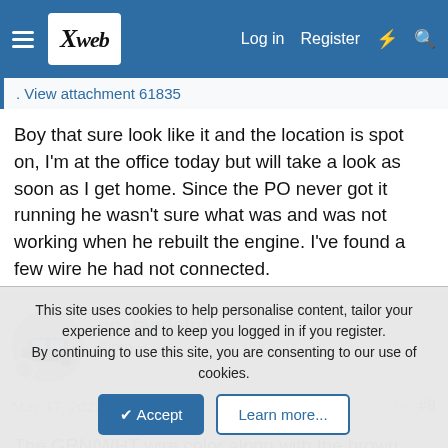Xweb — Log in  Register
View attachment 61835
Boy that sure look like it and the location is spot on, I'm at the office today but will take a look as soon as I get home. Since the PO never got it running he wasn't sure what was and was not working when he rebuilt the engine. I've found a few wire he had not connected.
ng_randolph
Bjorn H
May 17, 2022  #8
The GRN/WHT wire color along with the brown boot suggests that it is for the sender for the coolant temperature gauge
This site uses cookies to help personalise content, tailor your experience and to keep you logged in if you register.
By continuing to use this site, you are consenting to our use of cookies.